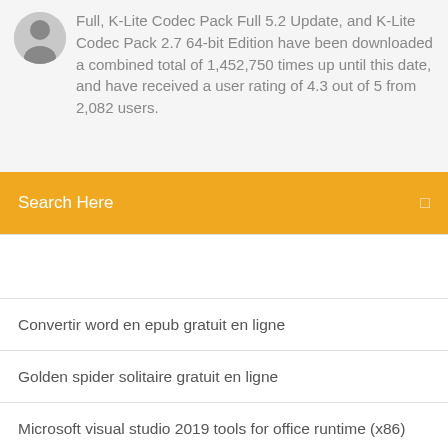Full, K-Lite Codec Pack Full 5.2 Update, and K-Lite Codec Pack 2.7 64-bit Edition have been downloaded a combined total of 1,452,750 times up until this date, and have received a user rating of 4.3 out of 5 from 2,082 users.
Search Here
Convertir word en epub gratuit en ligne
Golden spider solitaire gratuit en ligne
Microsoft visual studio 2019 tools for office runtime (x86)